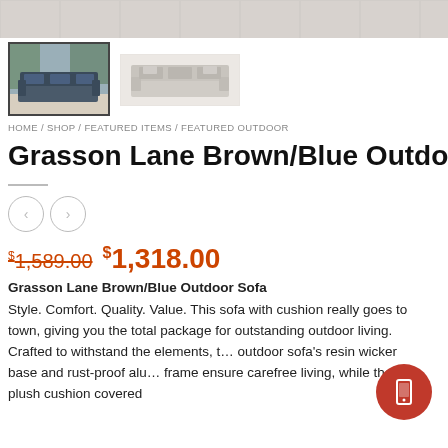[Figure (photo): Top banner showing outdoor patio tile flooring]
[Figure (photo): Selected thumbnail: Grasson Lane Brown/Blue outdoor sofa with blue cushions in outdoor setting]
[Figure (photo): Alternate thumbnail: Grasson Lane outdoor sofa, grey/beige view]
HOME / SHOP / FEATURED ITEMS / FEATURED OUTDOOR
Grasson Lane Brown/Blue Outdo
< >
$1,589.00  $1,318.00
Grasson Lane Brown/Blue Outdoor Sofa
Style. Comfort. Quality. Value. This sofa with cushion really goes to town, giving you the total package for outstanding outdoor living. Crafted to withstand the elements, t… outdoor sofa's resin wicker base and rust-proof alu… frame ensure carefree living, while the plush cushion covered